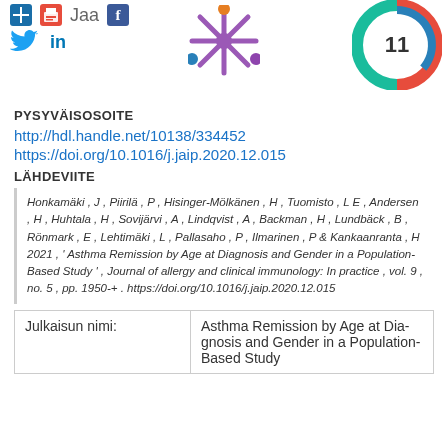[Figure (infographic): Social sharing icons (Twitter bird, LinkedIn 'in', red print icon, 'Jaa' text, Facebook 'f' icon, and a snowflake/asterisk purple icon) plus an Altmetric donut badge showing the number 11]
PYSYVÄISOSOITE
http://hdl.handle.net/10138/334452
https://doi.org/10.1016/j.jaip.2020.12.015
LÄHDEVIITE
Honkamäki , J , Piirilä , P , Hisinger-Mölkänen , H , Tuomisto , L E , Andersen , H , Huhtala , H , Sovijärvi , A , Lindqvist , A , Backman , H , Lundbäck , B , Rönmark , E , Lehtimäki , L , Pallasaho , P , Ilmarinen , P & Kankaanranta , H 2021 , ' Asthma Remission by Age at Diagnosis and Gender in a Population-Based Study ' , Journal of allergy and clinical immunology: In practice , vol. 9 , no. 5 , pp. 1950-+ . https://doi.org/10.1016/j.jaip.2020.12.015
| Julkaisun nimi: |  |
| --- | --- |
| Julkaisun nimi: | Asthma Remission by Age at Diagnosis and Gender in a Population-Based Study |